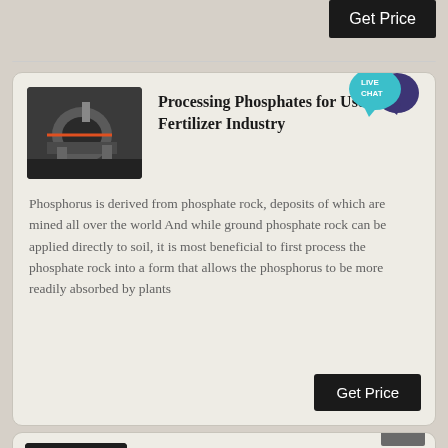Get Price
[Figure (screenshot): Card showing phosphate processing equipment with title 'Processing Phosphates for Use in the Fertilizer Industry' and body text about phosphorus from rock]
Processing Phosphates for Use in the Fertilizer Industry
Phosphorus is derived from phosphate rock, deposits of which are mined all over the world And while ground phosphate rock can be applied directly to soil, it is most beneficial to first process the phosphate rock into a form that allows the phosphorus to be more readily absorbed by plants
Get Price
[Figure (photo): Ring roller mill machinery for rock phosphate grinding]
ring roller mills for rock phosphate grinding